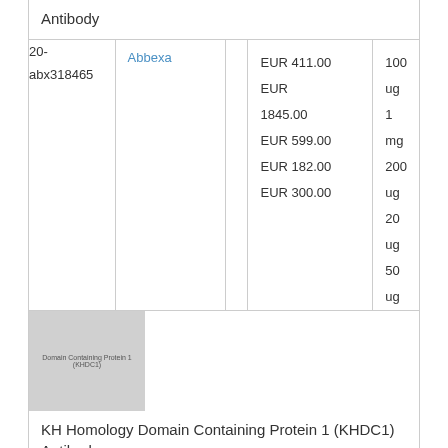Antibody
| ID | Vendor |  | Price | Size |
| --- | --- | --- | --- | --- |
| 20-abx318465 | Abbexa |  | EUR 411.00
EUR 1845.00
EUR 599.00
EUR 182.00
EUR 300.00 | 100 ug
1 mg
200 ug
20 ug
50 ug |
[Figure (photo): Thumbnail image placeholder for KH Homology Domain Containing Protein 1 (KHDC1) Antibody product]
KH Homology Domain Containing Protein 1 (KHDC1) Antibody